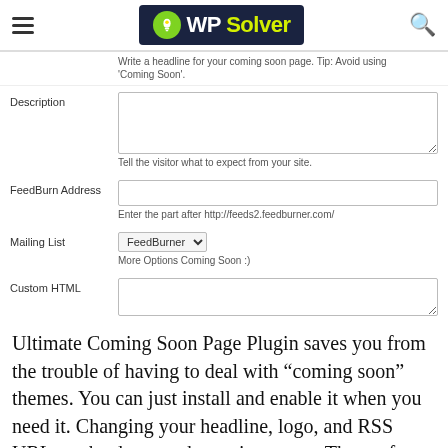WP Solver
Write a headline for your coming soon page. Tip: Avoid using 'Coming Soon'.
Description
Tell the visitor what to expect from your site.
FeedBurn Address
Enter the part after http://feeds2.feedburner.com/
Mailing List
FeedBurner
More Options Coming Soon :)
Custom HTML
Ultimate Coming Soon Page Plugin saves you from the trouble of having to deal with “coming soon” themes. You can just install and enable it when you need it. Changing your headline, logo, and RSS URL can be done on the settings page. Those of you who